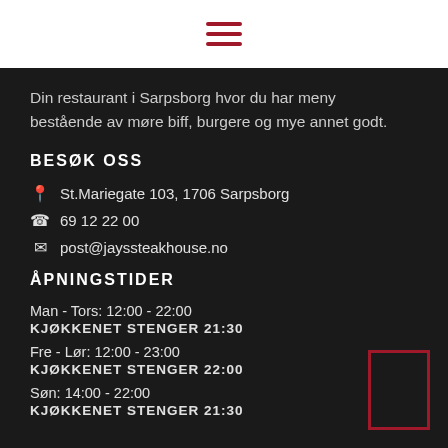[Figure (other): Hamburger menu icon with three red horizontal lines]
Din restaurant i Sarpsborg hvor du har meny bestående av møre biff, burgere og mye annet godt.
BESØK OSS
📍 St.Mariegate 103, 1706 Sarpsborg
☎ 69 12 22 00
✉ post@jayssteakhouse.no
ÅPNINGSTIDER
Man - Tors: 12:00 - 22:00
KJØKKENET STENGER 21:30
Fre - Lør: 12:00 - 23:00
KJØKKENET STENGER 22:00
Søn: 14:00 - 22:00
KJØKKENET STENGER 21:30